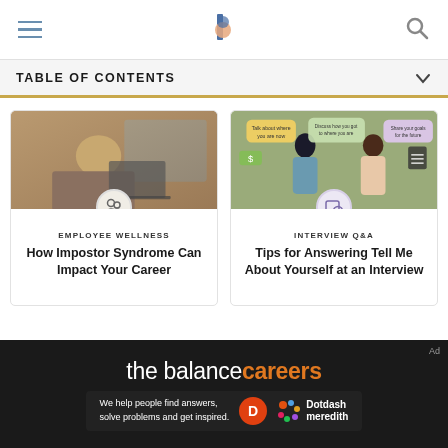the balance careers — navigation header with hamburger menu, logo, and search icon
TABLE OF CONTENTS
[Figure (photo): Woman with head in hands stressed at laptop — Employee Wellness card]
EMPLOYEE WELLNESS
How Impostor Syndrome Can Impact Your Career
[Figure (illustration): Two illustrated figures talking with salary negotiation text bubbles — Interview Q&A card]
INTERVIEW Q&A
Tips for Answering Tell Me About Yourself at an Interview
[Figure (logo): the balance careers logo with Dotdash Meredith branding on dark background. Tagline: We help people find answers, solve problems and get inspired.]